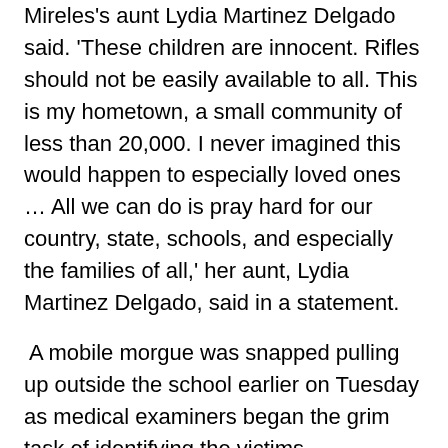Mireles's aunt Lydia Martinez Delgado said. 'These children are innocent. Rifles should not be easily available to all. This is my hometown, a small community of less than 20,000. I never imagined this would happen to especially loved ones … All we can do is pray hard for our country, state, schools, and especially the families of all,' her aunt, Lydia Martinez Delgado, said in a statement.
A mobile morgue was snapped pulling up outside the school earlier on Tuesday as medical examiners began the grim task of identifying the victims.
Also killed by Ramos was a teacher. The gunman himself was killed by a border control agent, and is